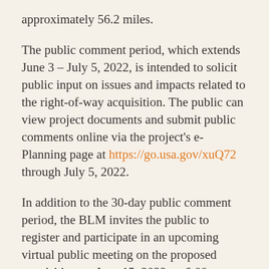approximately 56.2 miles.
The public comment period, which extends June 3 – July 5, 2022, is intended to solicit public input on issues and impacts related to the right-of-way acquisition. The public can view project documents and submit public comments online via the project's e-Planning page at https://go.usa.gov/xuQ72 through July 5, 2022.
In addition to the 30-day public comment period, the BLM invites the public to register and participate in an upcoming virtual public meeting on the proposed acquisition on June 15, 2022, at 6:00 p.m.